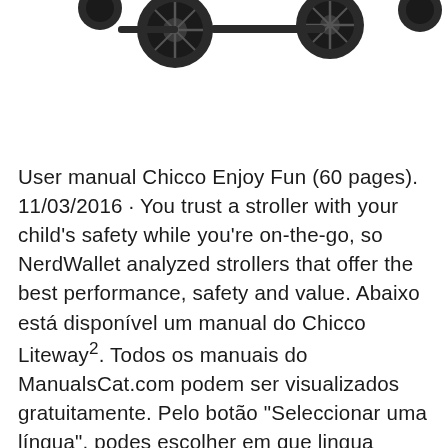[Figure (photo): Partial view of a baby stroller/pushchair showing the wheel assembly and frame from above, with black wheels visible against a white background.]
User manual Chicco Enjoy Fun (60 pages). 11/03/2016 · You trust a stroller with your child's safety while you're on-the-go, so NerdWallet analyzed strollers that offer the best performance, safety and value. Abaixo está disponível um manual do Chicco Liteway². Todos os manuais do ManualsCat.com podem ser visualizados gratuitamente. Pelo botão "Seleccionar uma língua", podes escolher em que lingua preferes visualizar o manual..